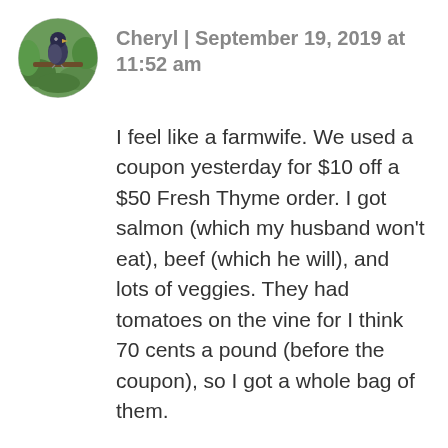[Figure (photo): Circular avatar photo of a bird perched on a branch with green background]
Cheryl | September 19, 2019 at 11:52 am
I feel like a farmwife. We used a coupon yesterday for $10 off a $50 Fresh Thyme order. I got salmon (which my husband won't eat), beef (which he will), and lots of veggies. They had tomatoes on the vine for I think 70 cents a pound (before the coupon), so I got a whole bag of them.
I am currently drying tomatoes in my dehydrator, cooking apples on the stove, and baking sweet potatoes in the toaster oven! White